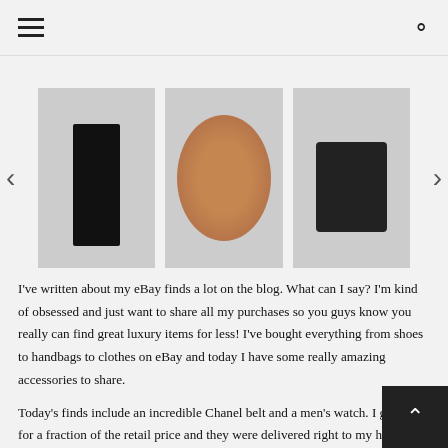Navigation menu and search icon
[Figure (photo): Carousel of three product photos: a woman in a black jumpsuit, rose gold hoop earrings on a yellow background, and a Chanel belt in a black box on a grey background. Left and right navigation arrows flank the images.]
I've written about my eBay finds a lot on the blog. What can I say? I'm kind of obsessed and just want to share all my purchases so you guys know you really can find great luxury items for less! I've bought everything from shoes to handbags to clothes on eBay and today I have some really amazing accessories to share.
Today's finds include an incredible Chanel belt and a men's watch. I got both for a fraction of the retail price and they were delivered right to my house super fast. I've been on the hunt for a great watch for Reid, and when I came across this one, it was a no-brainer. As for the Chanel belt,